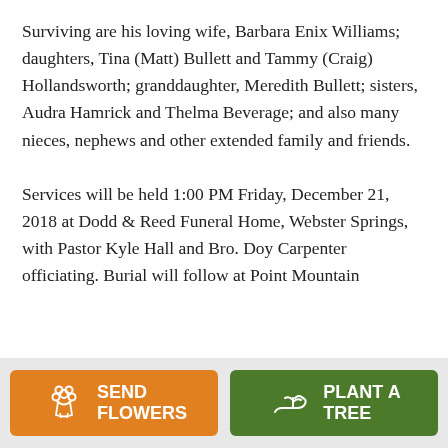Surviving are his loving wife, Barbara Enix Williams; daughters, Tina (Matt) Bullett and Tammy (Craig) Hollandsworth; granddaughter, Meredith Bullett; sisters, Audra Hamrick and Thelma Beverage; and also many nieces, nephews and other extended family and friends.

Services will be held 1:00 PM Friday, December 21, 2018 at Dodd & Reed Funeral Home, Webster Springs, with Pastor Kyle Hall and Bro. Doy Carpenter officiating. Burial will follow at Point Mountain
[Figure (other): Two call-to-action buttons at the bottom: 'SEND FLOWERS' (orange, with flower bouquet icon) and 'PLANT A TREE' (green, with plant/hand icon)]